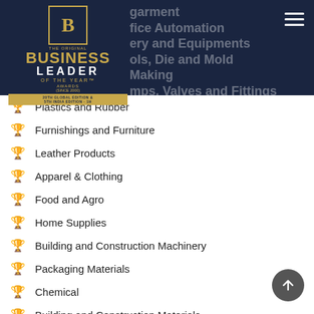[Figure (logo): The Original Business Leader of the Year Awards logo with gold B emblem on navy background]
Plastics and Rubber
Furnishings and Furniture
Leather Products
Apparel & Clothing
Food and Agro
Home Supplies
Building and Construction Machinery
Packaging Materials
Chemical
Building and Construction Materials
Infrastructure